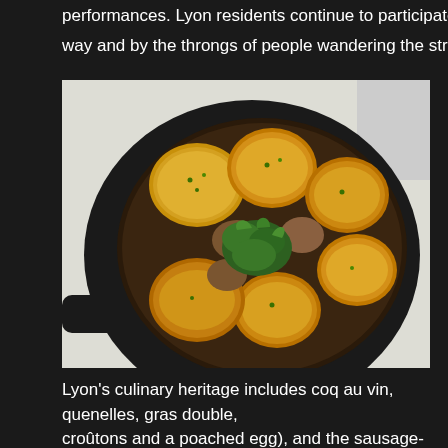performances. Lyon residents continue to participate as evidenced by the way and by the throngs of people wandering the streets on 8th December
[Figure (photo): A cast iron skillet on a white stove containing roasted potatoes with mushrooms, garnished with fresh parsley and herbs]
Lyon's culinary heritage includes coq au vin, quenelles, gras double, croutons and a poached egg), and the sausage-based rosette lyonna... confections include marron glacé and coussin de Lyon. Cervelle de c... cheese spread/dip made of a base of fromage blanc, seasoned with